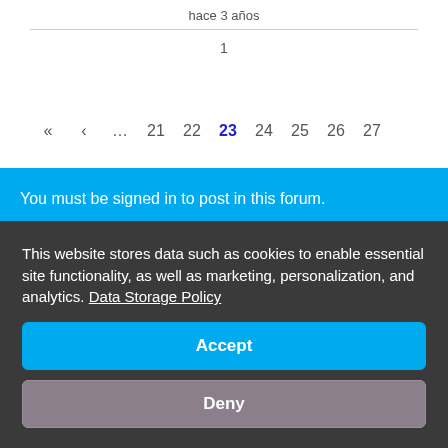hace 3 años
1
« ‹ … 21 22 23 24 25 26 27
You must be signed in to post in this forum.
This website stores data such as cookies to enable essential site functionality, as well as marketing, personalization, and analytics. Data Storage Policy
Accept
Deny